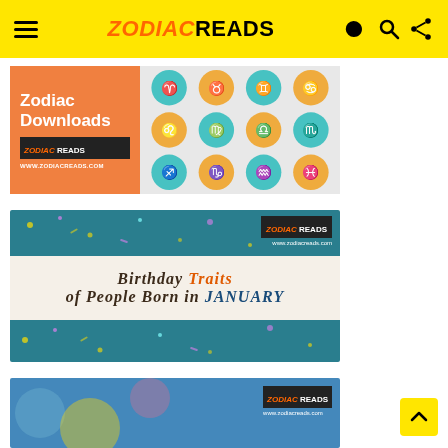ZODIACREADS
[Figure (illustration): Zodiac Downloads banner with orange background, zodiac sign icons grid on teal circles, ZODIAC READS logo and www.zodiacreads.com URL]
[Figure (illustration): Birthday Traits of People Born in January banner with teal top/bottom confetti sections and cream middle with styled text]
[Figure (illustration): Partial banner with teal/blue background and ZODIAC READS logo, partially visible at bottom of page]